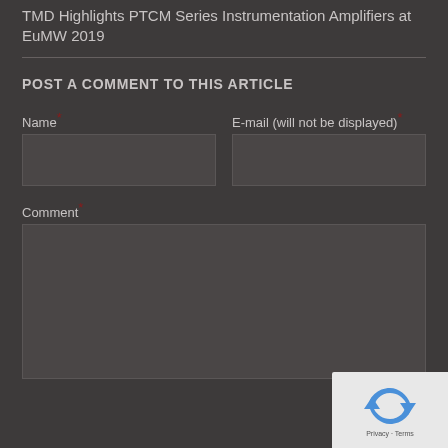TMD Highlights PTCM Series Instrumentation Amplifiers at EuMW 2019
POST A COMMENT TO THIS ARTICLE
Name*
E-mail (will not be displayed)*
Comment*